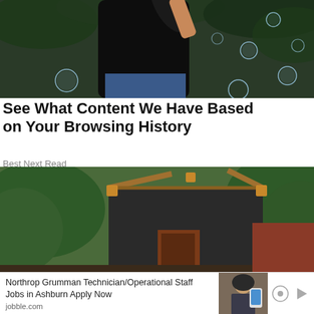[Figure (photo): Woman in black t-shirt blowing bubbles outdoors with green trees in background, multiple soap bubbles floating in the air]
See What Content We Have Based on Your Browsing History
Best Next Read
[Figure (photo): Outdoor wooden shed structure with dark fabric/tarp siding and wooden frame, surrounded by green trees and plants]
Northrop Grumman Technician/Operational Staff Jobs in Ashburn Apply Now
jobble.com